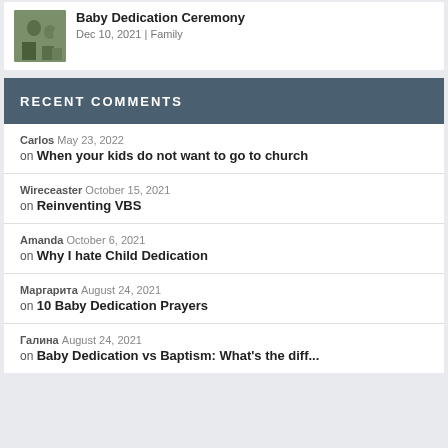[Figure (photo): Small thumbnail photo of people outdoors]
Baby Dedication Ceremony
Dec 10, 2021 | Family
RECENT COMMENTS
Carlos May 23, 2022 on When your kids do not want to go to church
Wireceaster October 15, 2021 on Reinventing VBS
Amanda October 6, 2021 on Why I hate Child Dedication
Маргарита August 24, 2021 on 10 Baby Dedication Prayers
Галина August 24, 2021 on Baby Dedication vs Baptism: What's the diff...